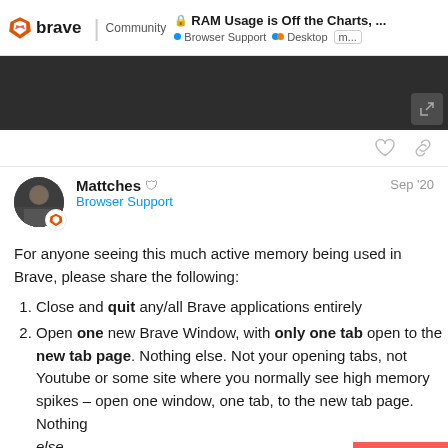brave Community | RAM Usage is Off the Charts,... | Browser Support • Desktop m...
[Figure (screenshot): Dark gray screenshot area with expand icon in bottom right corner]
Mattches  Browser Support  Sep '20
For anyone seeing this much active memory being used in Brave, please share the following:
Close and quit any/all Brave applications entirely
Open one new Brave Window, with only one tab open to the new tab page. Nothing else. Not your opening tabs, not Youtube or some site where you normally see high memory spikes – open one window, one tab, to the new tab page. Nothing else.
Open the Brave task manager, th...
10 / 58